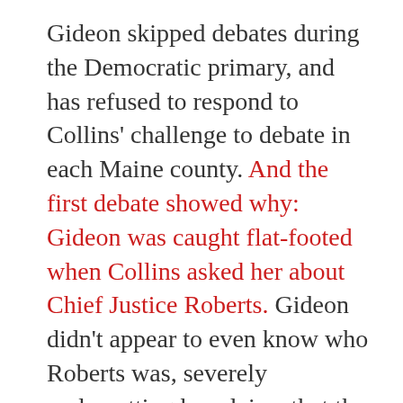Gideon skipped debates during the Democratic primary, and has refused to respond to Collins' challenge to debate in each Maine county. And the first debate showed why: Gideon was caught flat-footed when Collins asked her about Chief Justice Roberts. Gideon didn't appear to even know who Roberts was, severely undercutting her claims that the Supreme Court was her primary reason for getting in the race.
•
Gideon will again try to nationalize